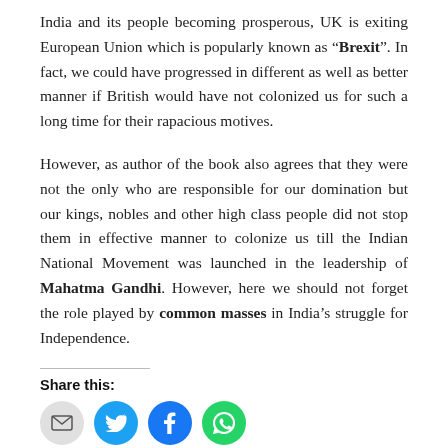India and its people becoming prosperous, UK is exiting European Union which is popularly known as “Brexit”. In fact, we could have progressed in different as well as better manner if British would have not colonized us for such a long time for their rapacious motives.
However, as author of the book also agrees that they were not the only who are responsible for our domination but our kings, nobles and other high class people did not stop them in effective manner to colonize us till the Indian National Movement was launched in the leadership of Mahatma Gandhi. However, here we should not forget the role played by common masses in India’s struggle for Independence.
Share this: